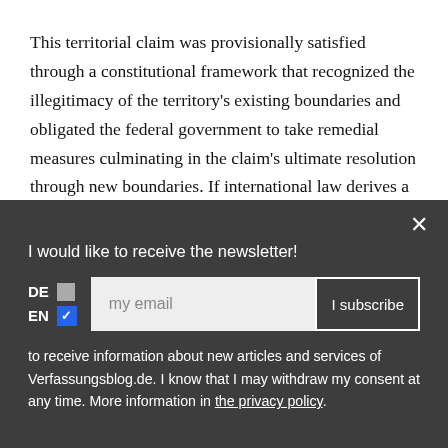This territorial claim was provisionally satisfied through a constitutional framework that recognized the illegitimacy of the territory's existing boundaries and obligated the federal government to take remedial measures culminating in the claim's ultimate resolution through new boundaries. If international law derives a
I would like to receive the newsletter!
to receive information about new articles and services of Verfassungsblog.de. I know that I may withdraw my consent at any time. More information in the privacy policy.